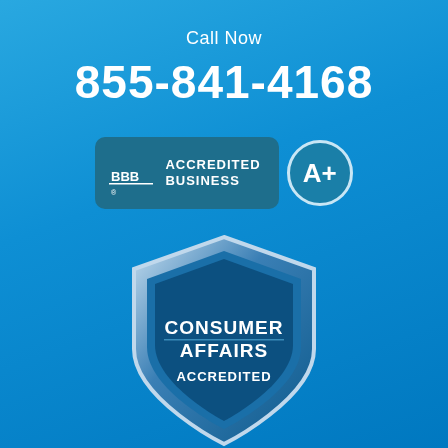Call Now
855-841-4168
[Figure (logo): BBB Accredited Business badge with A+ rating circle]
[Figure (logo): Consumer Affairs Accredited shield badge]
© Copyright 2018, Fairfield Funding. All Rights Reserved. Privacy Policy